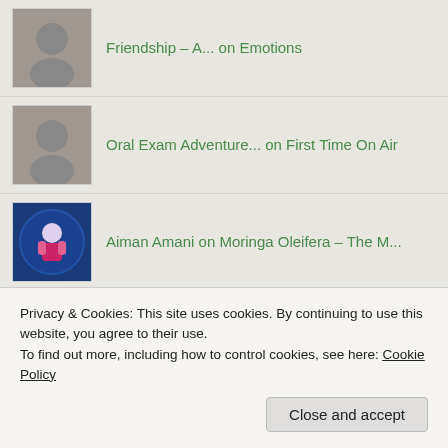Friendship – A... on Emotions
Oral Exam Adventure... on First Time On Air
Aiman Amani on Moringa Oleifera – The M...
Aiman Amani on Halal labeling
ekasugianto87 on Halal labeling
Ana on Moringa Oleifera – The M...
Privacy & Cookies: This site uses cookies. By continuing to use this website, you agree to their use.
To find out more, including how to control cookies, see here: Cookie Policy
Close and accept